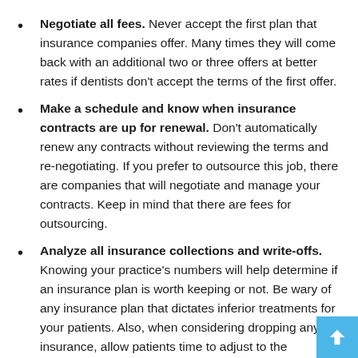Negotiate all fees. Never accept the first plan that insurance companies offer. Many times they will come back with an additional two or three offers at better rates if dentists don't accept the terms of the first offer.
Make a schedule and know when insurance contracts are up for renewal. Don't automatically renew any contracts without reviewing the terms and re-negotiating. If you prefer to outsource this job, there are companies that will negotiate and manage your contracts. Keep in mind that there are fees for outsourcing.
Analyze all insurance collections and write-offs. Knowing your practice's numbers will help determine if an insurance plan is worth keeping or not. Be wary of any insurance plan that dictates inferior treatments for your patients. Also, when considering dropping any insurance, allow patients time to adjust to the changes. Most patients will stay loyal to your dental practice if you courtesy bill for